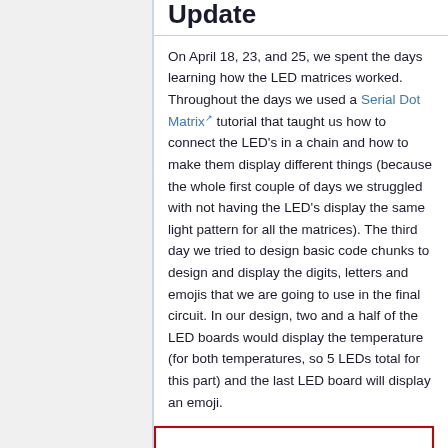Update
On April 18, 23, and 25, we spent the days learning how the LED matrices worked. Throughout the days we used a Serial Dot Matrix tutorial that taught us how to connect the LED's in a chain and how to make them display different things (because the whole first couple of days we struggled with not having the LED's display the same light pattern for all the matrices). The third day we tried to design basic code chunks to design and display the digits, letters and emojis that we are going to use in the final circuit. In our design, two and a half of the LED boards would display the temperature (for both temperatures, so 5 LEDs total for this part) and the last LED board will display an emoji.